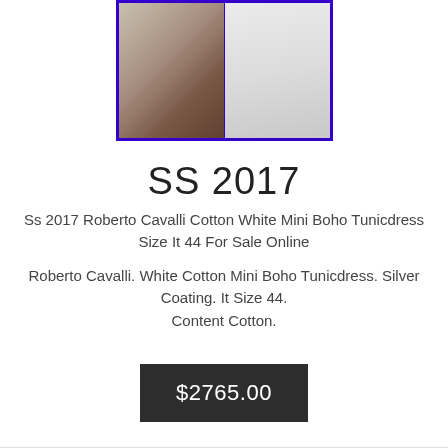[Figure (photo): Two product images side by side showing white mini boho tunic dresses, bordered in blue/purple. Left image shows models wearing dresses in a colorful setting; right image shows a white ruffled dress on plain background.]
SS 2017
Ss 2017 Roberto Cavalli Cotton White Mini Boho Tunicdress Size It 44 For Sale Online
Roberto Cavalli. White Cotton Mini Boho Tunicdress. Silver Coating. It Size 44. Content Cotton.
$2765.00